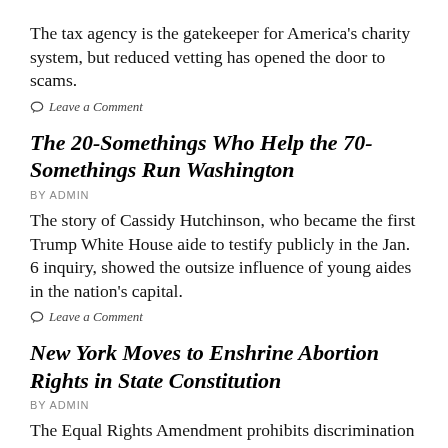The tax agency is the gatekeeper for America’s charity system, but reduced vetting has opened the door to scams.
Leave a Comment
The 20-Somethings Who Help the 70-Somethings Run Washington
BY ADMIN
The story of Cassidy Hutchinson, who became the first Trump White House aide to testify publicly in the Jan. 6 inquiry, showed the outsize influence of young aides in the nation’s capital.
Leave a Comment
New York Moves to Enshrine Abortion Rights in State Constitution
BY ADMIN
The Equal Rights Amendment prohibits discrimination